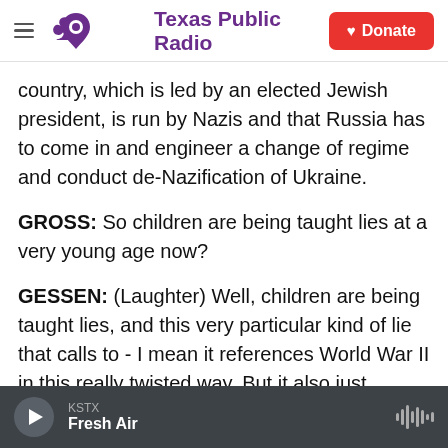Texas Public Radio — Donate
country, which is led by an elected Jewish president, is run by Nazis and that Russia has to come in and engineer a change of regime and conduct de-Nazification of Ukraine.
GROSS: So children are being taught lies at a very young age now?
GESSEN: (Laughter) Well, children are being taught lies, and this very particular kind of lie that calls to - I mean it references World War II in this really twisted way. But it also just dehumanizes the enemy, and the enemy being the Ukrainian people,
KSTX  Fresh Air